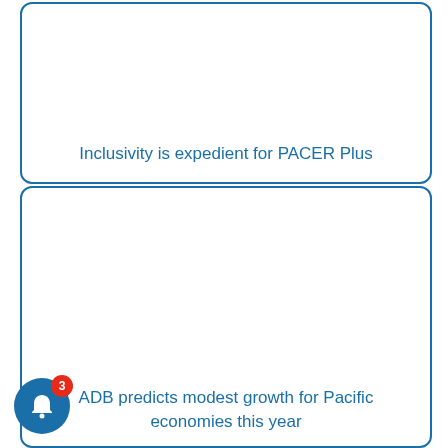[Figure (other): Card/tile with empty image area and blue rounded border]
Inclusivity is expedient for PACER Plus
[Figure (other): Card/tile with empty image area and blue rounded border]
ADB predicts modest growth for Pacific economies this year